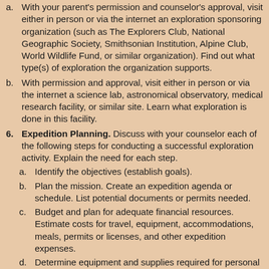a. With your parent's permission and counselor's approval, visit either in person or via the internet an exploration sponsoring organization (such as The Explorers Club, National Geographic Society, Smithsonian Institution, Alpine Club, World Wildlife Fund, or similar organization). Find out what type(s) of exploration the organization supports.
b. With permission and approval, visit either in person or via the internet a science lab, astronomical observatory, medical research facility, or similar site. Learn what exploration is done in this facility.
6. Expedition Planning. Discuss with your counselor each of the following steps for conducting a successful exploration activity. Explain the need for each step.
a. Identify the objectives (establish goals).
b. Plan the mission. Create an expedition agenda or schedule. List potential documents or permits needed.
c. Budget and plan for adequate financial resources. Estimate costs for travel, equipment, accommodations, meals, permits or licenses, and other expedition expenses.
d. Determine equipment and supplies required for personal and mission needs for the length of the expedition.
e. Determine communication and transportation needs.